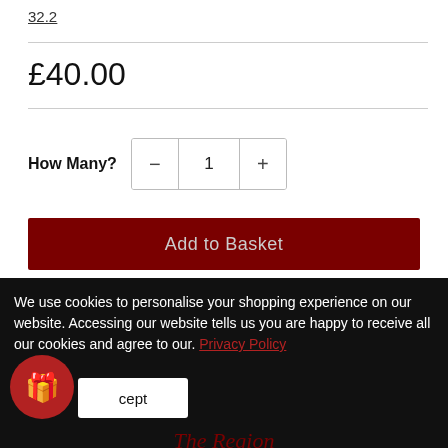32.2
£40.00
How Many? 1
Add to Basket
We use cookies to personalise your shopping experience on our website. Accessing our website tells us you are happy to receive all our cookies and agree to our Privacy Policy
Accept
The Region